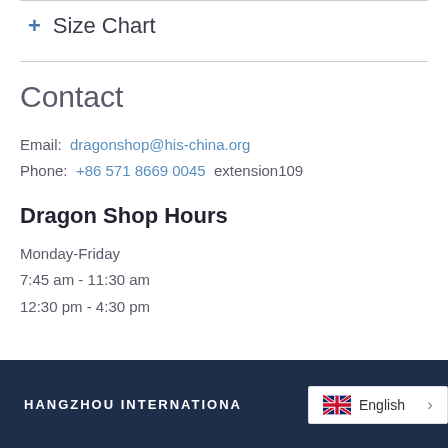+ Size Chart
Contact
Email: dragonshop@his-china.org
Phone: +86 571 8669 0045 extension109
Dragon Shop Hours
Monday-Friday
7:45 am - 11:30 am
12:30 pm - 4:30 pm
HANGZHOU INTERNATIONA... English >